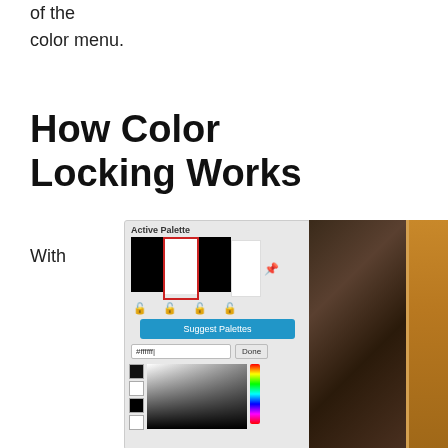of the color menu.
How Color Locking Works
With
[Figure (screenshot): Screenshot of an Active Palette color panel showing black and white swatches with a white swatch selected (highlighted in red), lock icons, a Suggest Palettes button, a hex input field showing #ffffff, a Done button, a color picker gradient, and small black/white swatches. To the right is a photo of wooden planks.]